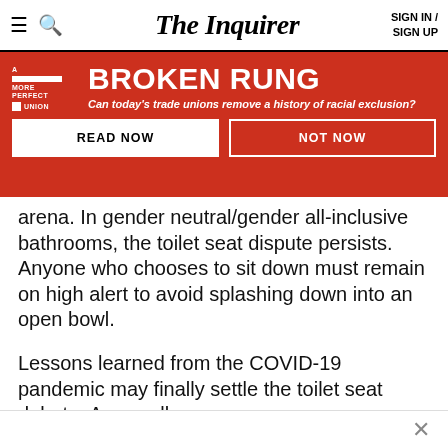The Inquirer | SIGN IN / SIGN UP
[Figure (infographic): Red banner advertisement for 'A More Perfect Union: Broken Rung' series with tagline 'Can today's trade unions remove a history of racial exclusion?' and two buttons: READ NOW and NOT NOW]
arena. In gender neutral/gender all-inclusive bathrooms, the toilet seat dispute persists. Anyone who chooses to sit down must remain on high alert to avoid splashing down into an open bowl.
Lessons learned from the COVID-19 pandemic may finally settle the toilet seat debate. As we all